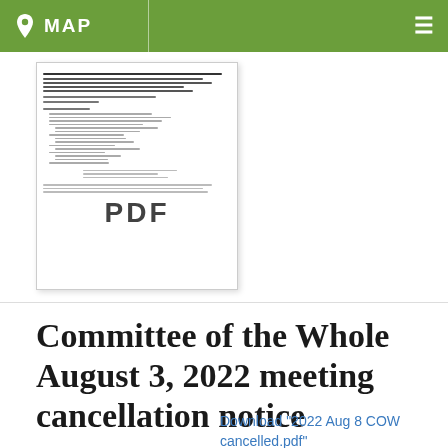MAP
[Figure (other): Thumbnail of a PDF document showing a meeting agenda with lines of text]
Committee of the Whole August 3, 2022 meeting cancellation notice
[Figure (other): Thumbnail preview of Brillion city document with logo showing 'Brillion Small City. Big Heart.']
Download "2022 Aug 8 COW cancelled.pdf"